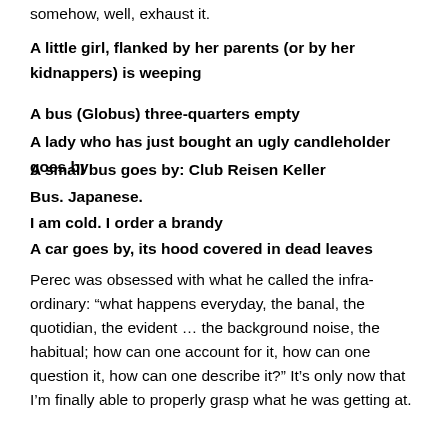somehow, well, exhaust it.
A little girl, flanked by her parents (or by her kidnappers) is weeping
A bus (Globus) three-quarters empty
A lady who has just bought an ugly candleholder goes by
A small bus goes by: Club Reisen Keller
Bus. Japanese.
I am cold. I order a brandy
A car goes by, its hood covered in dead leaves
Perec was obsessed with what he called the infra-ordinary: “what happens everyday, the banal, the quotidian, the evident … the background noise, the habitual; how can one account for it, how can one question it, how can one describe it?” It’s only now that I’m finally able to properly grasp what he was getting at.